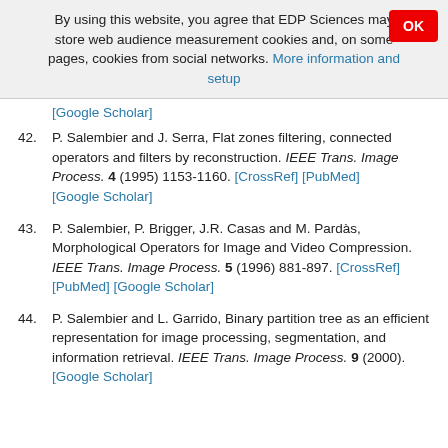By using this website, you agree that EDP Sciences may store web audience measurement cookies and, on some pages, cookies from social networks. More information and setup
[Google Scholar]
42. P. Salembier and J. Serra, Flat zones filtering, connected operators and filters by reconstruction. IEEE Trans. Image Process. 4 (1995) 1153-1160. [CrossRef] [PubMed] [Google Scholar]
43. P. Salembier, P. Brigger, J.R. Casas and M. Pardàs, Morphological Operators for Image and Video Compression. IEEE Trans. Image Process. 5 (1996) 881-897. [CrossRef] [PubMed] [Google Scholar]
44. P. Salembier and L. Garrido, Binary partition tree as an efficient representation for image processing, segmentation, and information retrieval. IEEE Trans. Image Process. 9 (2000). [Google Scholar]